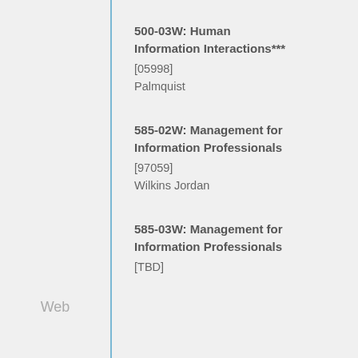500-03W: Human Information Interactions***
[05998]
Palmquist
585-02W: Management for Information Professionals
[97059]
Wilkins Jordan
Web
585-03W: Management for Information Professionals
[TBD]